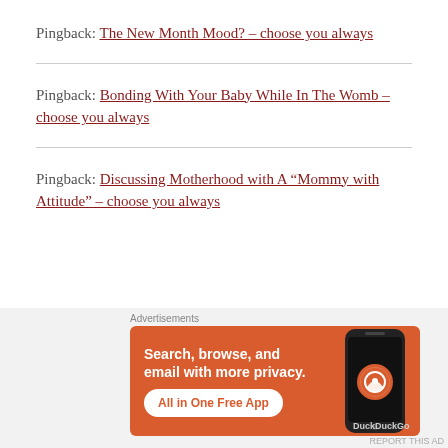Pingback: The New Month Mood? – choose you always
Pingback: Bonding With Your Baby While In The Womb – choose you always
Pingback: Discussing Motherhood with A “Mommy with Attitude” – choose you always
[Figure (screenshot): DuckDuckGo advertisement banner: orange background with text 'Search, browse, and email with more privacy. All in One Free App' and a phone image with DuckDuckGo logo]